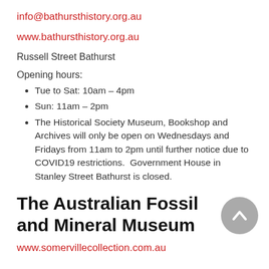info@bathursthistory.org.au
www.bathursthistory.org.au
Russell Street Bathurst
Opening hours:
Tue to Sat: 10am – 4pm
Sun: 11am – 2pm
The Historical Society Museum, Bookshop and Archives will only be open on Wednesdays and Fridays from 11am to 2pm until further notice due to COVID19 restrictions.  Government House in Stanley Street Bathurst is closed.
The Australian Fossil and Mineral Museum
www.somervillecollection.com.au